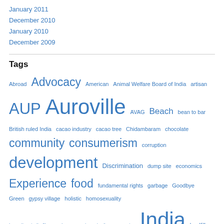January 2011
December 2010
January 2010
December 2009
Tags
Abroad Advocacy American Animal Welfare Board of India artisan AUP Auroville AVAG Beach bean to bar British ruled India cacao industry cacao tree Chidambaram chocolate community consumerism corruption development Discrimination dump site economics Experience food fundamental rights garbage Goodbye Green gypsy village holistic homosexuality https://aupindia.files.wordpress.com/2014/01/img_08531.jpg India landfill law LGBT community Mangrove Forest microfinance Monsanto National Rabies Control Pilot Project NGO Non Governmental Organization Organic Cotton